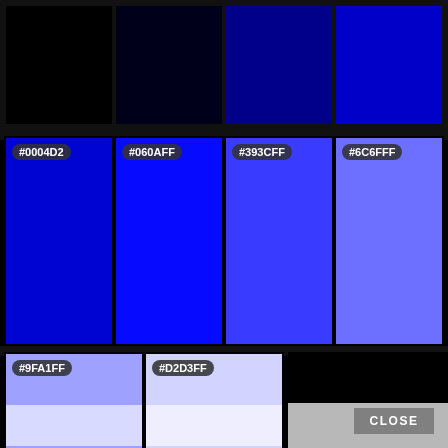[Figure (other): Color palette screenshot showing a grid of blue color swatches with hex codes. Top row shows very dark colors from black to dark blue (#000000 to #0000c8). Middle row shows four labeled swatches: #0004D2, #060AFF, #393CFF, #6C6FFF. Bottom partial row shows two labeled swatches: #9FA1FF, #D2D3FF. A CLOSE button is visible at bottom right.]
#0004D2
#060AFF
#393CFF
#6C6FFF
#9FA1FF
#D2D3FF
CLOSE